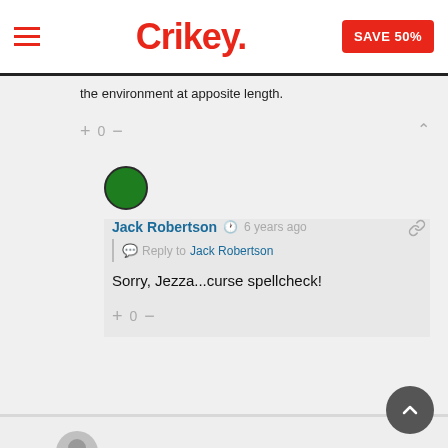Crikey. SAVE 50%
the environment at apposite length.
+ 0 —
[Figure (illustration): Green circular avatar for user Jack Robertson]
Jack Robertson  6 years ago
Reply to Jack Robertson
Sorry, Jezza...curse spellcheck!
+ 0 —
[Figure (illustration): Grey circular avatar for next commenter]